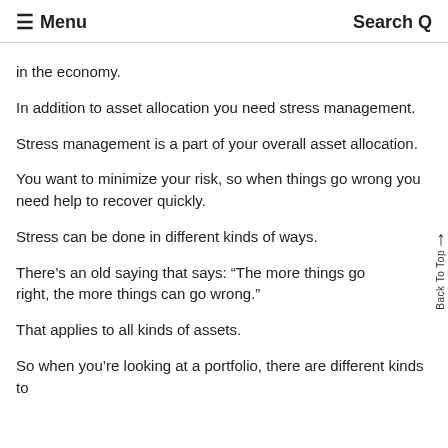Menu  Search Q
in the economy.
In addition to asset allocation you need stress management.
Stress management is a part of your overall asset allocation.
You want to minimize your risk, so when things go wrong you need help to recover quickly.
Stress can be done in different kinds of ways.
There’s an old saying that says: “The more things go right, the more things can go wrong.”
That applies to all kinds of assets.
So when you’re looking at a portfolio, there are different kinds to